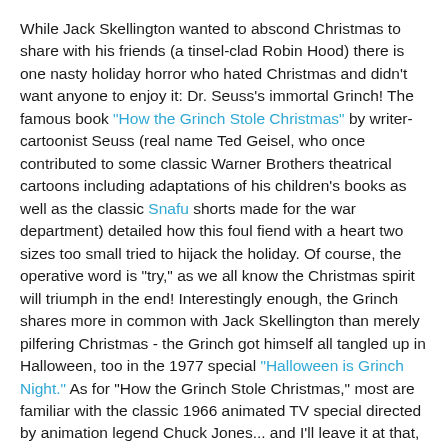While Jack Skellington wanted to abscond Christmas to share with his friends (a tinsel-clad Robin Hood) there is one nasty holiday horror who hated Christmas and didn't want anyone to enjoy it: Dr. Seuss's immortal Grinch! The famous book "How the Grinch Stole Christmas" by writer-cartoonist Seuss (real name Ted Geisel, who once contributed to some classic Warner Brothers theatrical cartoons including adaptations of his children's books as well as the classic Snafu shorts made for the war department) detailed how this foul fiend with a heart two sizes too small tried to hijack the holiday. Of course, the operative word is "try," as we all know the Christmas spirit will triumph in the end! Interestingly enough, the Grinch shares more in common with Jack Skellington than merely pilfering Christmas - the Grinch got himself all tangled up in Halloween, too in the 1977 special "Halloween is Grinch Night." As for "How the Grinch Stole Christmas," most are familiar with the classic 1966 animated TV special directed by animation legend Chuck Jones... and I'll leave it at that, as I prefer to think the live-action fiasco of